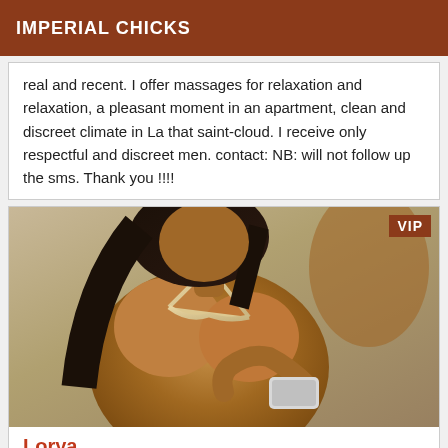IMPERIAL CHICKS
real and recent. I offer massages for relaxation and relaxation, a pleasant moment in an apartment, clean and discreet climate in La that saint-cloud. I receive only respectful and discreet men. contact: NB: will not follow up the sms. Thank you !!!!
[Figure (photo): Woman in bikini at beach holding a phone, with VIP badge overlay in top right corner]
Lorya
Chicas Cutler Bay chicas outcall